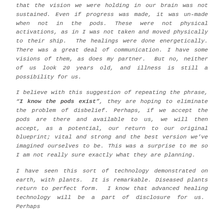that the vision we were holding in our brain was not sustained. Even if progress was made, it was un-made when not in the pods. These were not physical activations, as in I was not taken and moved physically to their ship. The healings were done energetically. There was a great deal of communication. I have some visions of them, as does my partner. But no, neither of us look 20 years old, and illness is still a possibility for us.
I believe with this suggestion of repeating the phrase, "I know the pods exist", they are hoping to eliminate the problem of disbelief. Perhaps, if we accept the pods are there and available to us, we will then accept, as a potential, our return to our original blueprint; vital and strong and the best version we've imagined ourselves to be. This was a surprise to me so I am not really sure exactly what they are planning.
I have seen this sort of technology demonstrated on earth, with plants. It is remarkable. Diseased plants return to perfect form. I know that advanced healing technology will be a part of disclosure for us. Perhaps